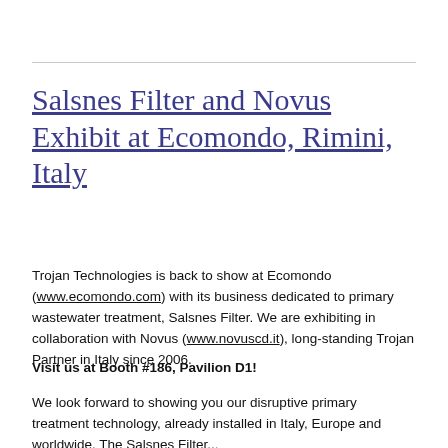Salsnes Filter and Novus Exhibit at Ecomondo, Rimini, Italy
Trojan Technologies is back to show at Ecomondo (www.ecomondo.com) with its business dedicated to primary wastewater treatment, Salsnes Filter. We are exhibiting in collaboration with Novus (www.novuscd.it), long-standing Trojan Partner in Italy since 2006.
Visit us at Booth #186, Pavilion D1!
We look forward to showing you our disruptive primary treatment technology, already installed in Italy, Europe and worldwide. The Salsnes Filter...